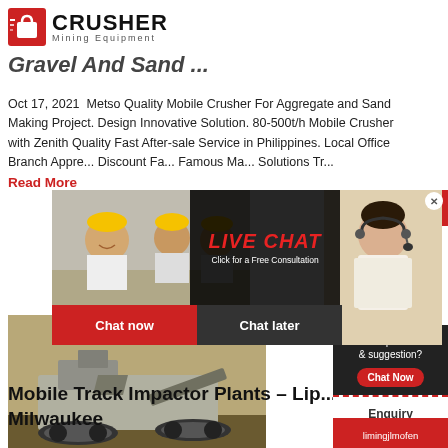[Figure (logo): Crusher Mining Equipment logo with red shopping bag icon and bold CRUSHER text]
Gravel And Sand ...
Oct 17, 2021  Metso Quality Mobile Crusher For Aggregate and Sand Making Project. Design Innovative Solution. 80-500t/h Mobile Crusher with Zenith Quality Fast After-sale Service in Philippines. Local Office Branch Appre... Discount Fa... Famous Ma... Solutions Tr...
Read More
[Figure (photo): Mining crusher machine on tracks in outdoor setting]
Mobile Track Impactor Plants - Lip... Milwaukee
[Figure (photo): Live Chat popup overlay with workers in hard hats and customer service representative]
[Figure (infographic): Right sidebar with 24Hrs Online, Need questions & suggestion? Chat Now button, Enquiry section, limingjlmofen@sina.com contact]